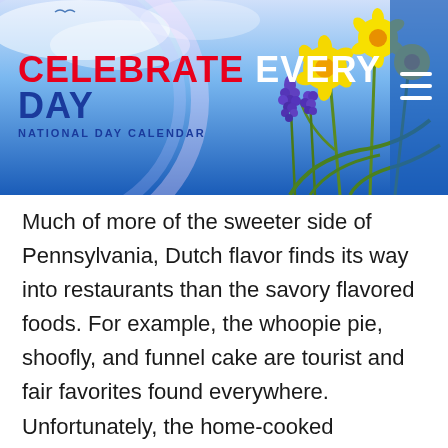[Figure (illustration): Website header banner for 'Celebrate Every Day - National Day Calendar' with blue sky, flowers (yellow daffodils, purple grape hyacinths), and a hamburger menu icon on the right.]
Much of more of the sweeter side of Pennsylvania, Dutch flavor finds its way into restaurants than the savory flavored foods. For example, the whoopie pie, shoofly, and funnel cake are tourist and fair favorites found everywhere. Unfortunately, the home-cooked seasoning of chicken corn chowder or stuffed cabbage rolls are often not found in a restaurant.
Cheesesteak